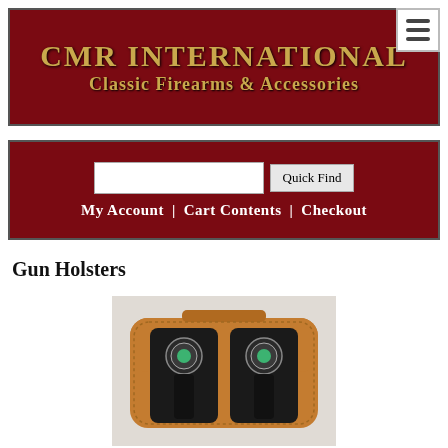CMR INTERNATIONAL
Classic Firearms & Accessories
[Figure (screenshot): Navigation bar with search input field, Quick Find button, and links: My Account | Cart Contents | Checkout on dark red background]
Gun Holsters
[Figure (photo): Tan leather double gun holster bag with decorative black tooled leather overlay featuring turquoise concho medallions, shown on a light gray background]